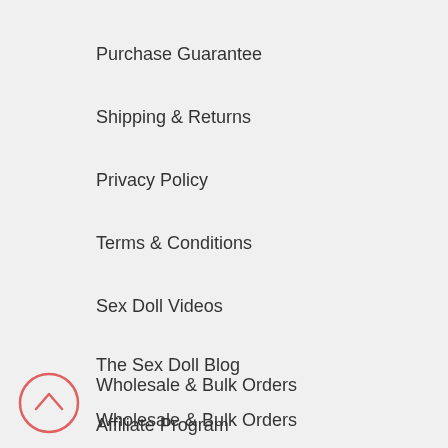Purchase Guarantee
Shipping & Returns
Privacy Policy
Terms & Conditions
Sex Doll Videos
The Sex Doll Blog
Wholesale & Bulk Orders
Affiliate Program
[Figure (illustration): Scroll-to-top button: a circle with an upward-pointing chevron, outlined in coral/salmon red]